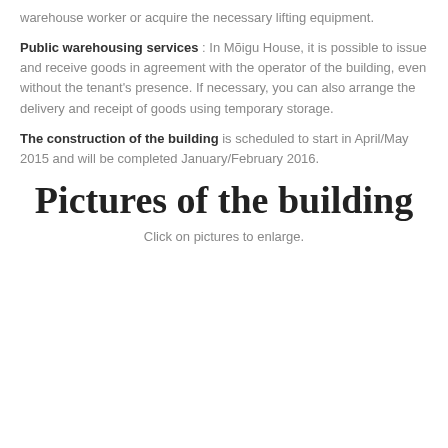warehouse worker or acquire the necessary lifting equipment.
Public warehousing services : In Mõigu House, it is possible to issue and receive goods in agreement with the operator of the building, even without the tenant's presence. If necessary, you can also arrange the delivery and receipt of goods using temporary storage.
The construction of the building is scheduled to start in April/May 2015 and will be completed January/February 2016.
Pictures of the building
Click on pictures to enlarge.